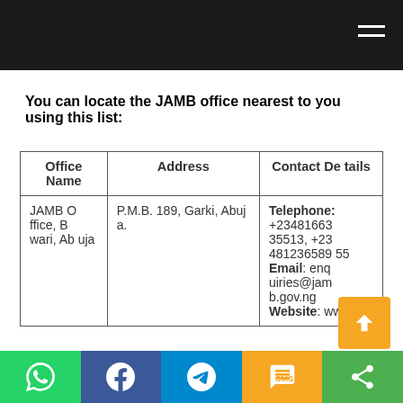You can locate the JAMB office nearest to you using this list:
| Office Name | Address | Contact Details |
| --- | --- | --- |
| JAMB Office, Bwari, Abuja | P.M.B. 189, Garki, Abuja. | Telephone: +2348166335513, +2348123658955
Email: enquiries@jamb.gov.ng
Website: www.jamb.gov.ng |